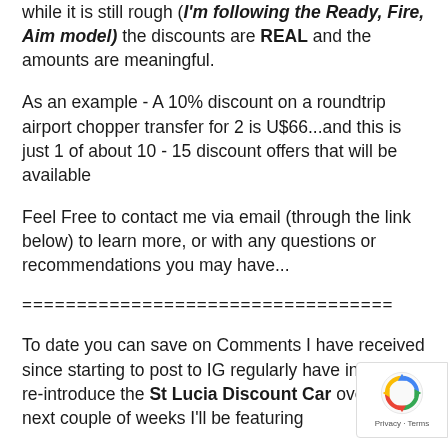while it is still rough (I'm following the Ready, Fire, Aim model) the discounts are REAL and the amounts are meaningful.
As an example - A 10% discount on a roundtrip airport chopper transfer for 2 is U$66...and this is just 1 of about 10 - 15 discount offers that will be available
Feel Free to contact me via email (through the link below) to learn more, or with any questions or recommendations you may have...
==================================
To date you can save on Comments I have received since starting to post to IG regularly have inspired me to re-introduce the St Lucia Discount Card over the next couple of weeks I'll be featuring